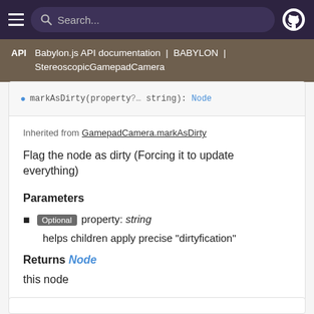Search... [navbar with hamburger menu and GitHub icon]
API | Babylon.js API documentation | BABYLON | StereoscopicGamepadCamera
markAsDirty(property?: string): Node
Inherited from GamepadCamera.markAsDirty
Flag the node as dirty (Forcing it to update everything)
Parameters
Optional property: string
helps children apply precise "dirtyfication"
Returns Node
this node